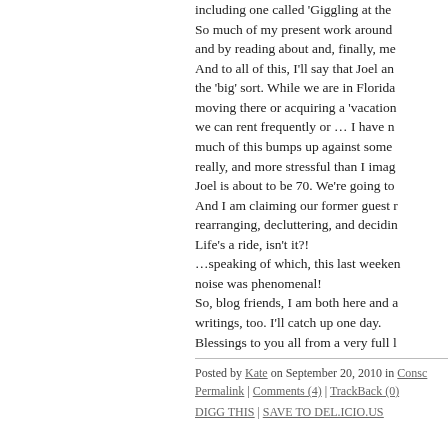including one called 'Giggling at the... So much of my present work around and by reading about and, finally, me And to all of this, I'll say that Joel an the 'big' sort. While we are in Florida moving there or acquiring a 'vacation we can rent frequently or … I have n much of this bumps up against some really, and more stressful than I imag Joel is about to be 70. We're going to And I am claiming our former guest r rearranging, decluttering, and decidin Life's a ride, isn't it?! …speaking of which, this last weeken noise was phenomenal! So, blog friends, I am both here and a writings, too. I'll catch up one day. Blessings to you all from a very full l
Posted by Kate on September 20, 2010 in Consc Permalink | Comments (4) | TrackBack (0)
DIGG THIS | SAVE TO DEL.ICIO.US
August 31, 2010
Creatin...